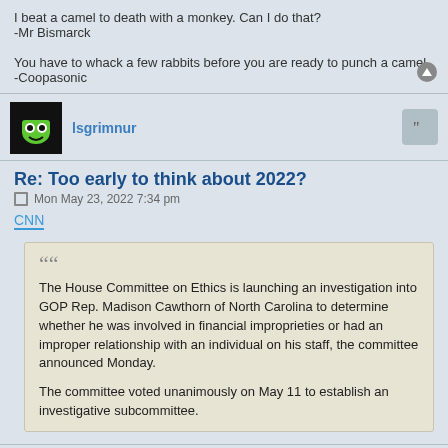I beat a camel to death with a monkey. Can I do that?
-Mr Bismarck

You have to whack a few rabbits before you are ready to punch a camel.
-Coopasonic
lsgrimnur
Re: Too early to think about 2022?
Mon May 23, 2022 7:34 pm
CNN
The House Committee on Ethics is launching an investigation into GOP Rep. Madison Cawthorn of North Carolina to determine whether he was involved in financial improprieties or had an improper relationship with an individual on his staff, the committee announced Monday.

The committee voted unanimously on May 11 to establish an investigative subcommittee.
We use this to the second state